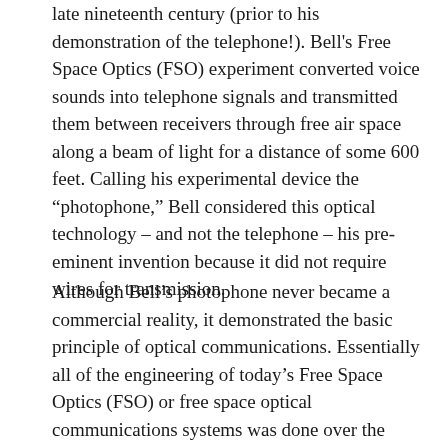late nineteenth century (prior to his demonstration of the telephone!). Bell's Free Space Optics (FSO) experiment converted voice sounds into telephone signals and transmitted them between receivers through free air space along a beam of light for a distance of some 600 feet. Calling his experimental device the “photophone,” Bell considered this optical technology – and not the telephone – his pre-eminent invention because it did not require wires for transmission.
Although Bell’s photophone never became a commercial reality, it demonstrated the basic principle of optical communications. Essentially all of the engineering of today’s Free Space Optics (FSO) or free space optical communications systems was done over the past 40 years or so, mostly for defense applications. By addressing the principal engineering challenges of Free Space Optics (FSO),